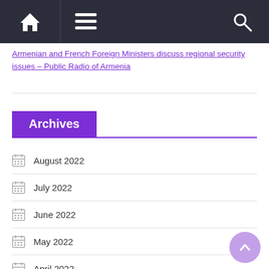Navigation bar with home, menu, and search icons
Armenian and French Foreign Ministers discuss regional security issues – Public Radio of Armenia
Archives
August 2022
July 2022
June 2022
May 2022
April 2022
March 2022